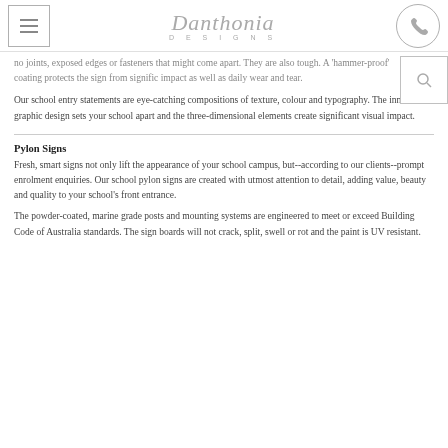Danthonia Designs
no joints, exposed edges or fasteners that might come apart. They are also tough. A 'hammer-proof' coating protects the sign from significant impact as well as daily wear and tear.
Our school entry statements are eye-catching compositions of texture, colour and typography. The innovative graphic design sets your school apart and the three-dimensional elements create significant visual impact.
Pylon Signs
Fresh, smart signs not only lift the appearance of your school campus, but--according to our clients--prompt enrolment enquiries. Our school pylon signs are created with utmost attention to detail, adding value, beauty and quality to your school's front entrance.
The powder-coated, marine grade posts and mounting systems are engineered to meet or exceed Building Code of Australia standards. The sign boards will not crack, split, swell or rot and the paint is UV resistant.